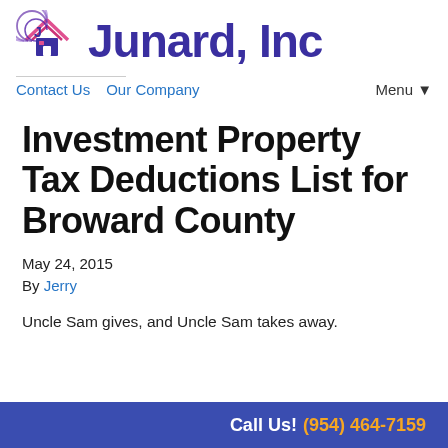[Figure (logo): Junard, Inc logo with house icon and stylized J in purple/pink, next to large purple text 'Junard, Inc']
Contact Us   Our Company   Menu ▼
Investment Property Tax Deductions List for Broward County
May 24, 2015
By Jerry
Uncle Sam gives, and Uncle Sam takes away.
Call Us! (954) 464-7159